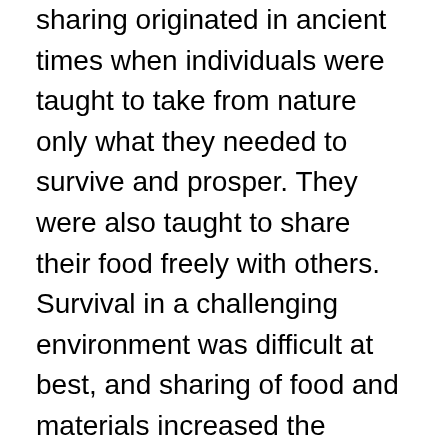sharing originated in ancient times when individuals were taught to take from nature only what they needed to survive and prosper. They were also taught to share their food freely with others. Survival in a challenging environment was difficult at best, and sharing of food and materials increased the chances of survival in times of need and scarcity. The practice of sharing also reduced the threat of conflict and aggression, two conditions that challenged survival.
Over many generations and thousands of years, First Nations people developed values